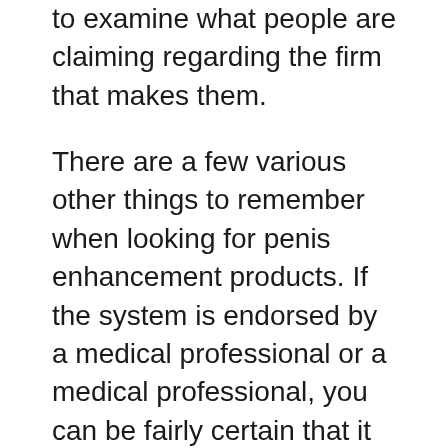to examine what people are claiming regarding the firm that makes them.
There are a few various other things to remember when looking for penis enhancement products. If the system is endorsed by a medical professional or a medical professional, you can be fairly certain that it will function – so you don't waste your money on something that just could not work.
One more thing that you must think of when searching for the best penis extender is if the items that are available have been verified to function. While a number of them are not backed by much proof, there are some available that have really revealed